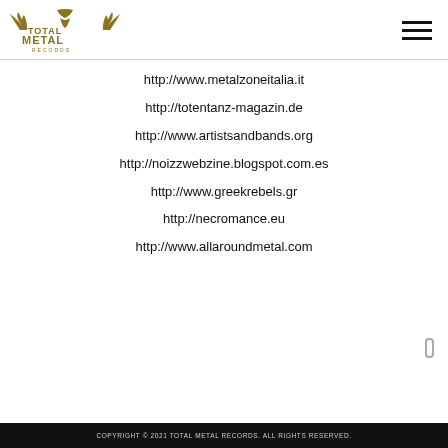Total Metal Records — site header with logo and navigation
http://www.metalzoneitalia.it
http://totentanz-magazin.de
http://www.artistsandbands.org
http://noizzwebzine.blogspot.com.es
http://www.greekrebels.gr
http://necromance.eu
http://www.allaroundmetal.com
COPYRIGHT © 2021 TOTAL METAL RECORDS. ALL RIGHTS RESERVED.